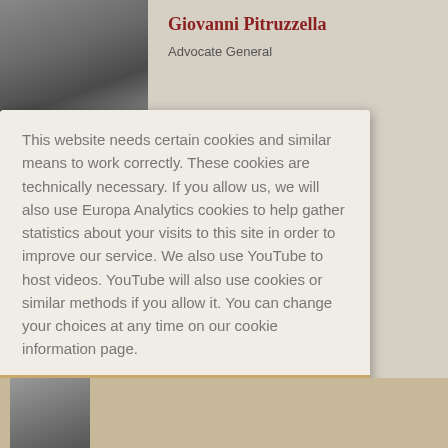[Figure (photo): Partially visible photo of Giovanni Pitruzzella in background]
Giovanni Pitruzzella
Advocate General
This website needs certain cookies and similar means to work correctly. These cookies are technically necessary. If you allow us, we will also use Europa Analytics cookies to help gather statistics about your visits to this site in order to improve our service. We also use YouTube to host videos. YouTube will also use cookies or similar methods if you allow it. You can change your choices at any time on our cookie information page.
Only technically necessary cookies
More information
Accept all